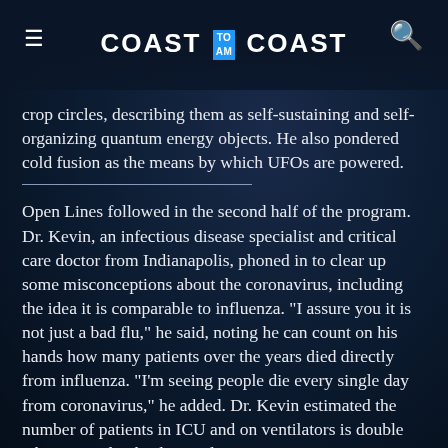COAST TO COAST
crop circles, describing them as self-sustaining and self-organizing quantum energy objects. He also pondered cold fusion as the means by which UFOs are powered.
Open Lines followed in the second half of the program. Dr. Kevin, an infectious disease specialist and critical care doctor from Indianapolis, phoned in to clear up some misconceptions about the coronavirus, including the idea it is comparable to influenza. "I assure you it is not just a bad flu," he said, noting he can count on his hands how many patients over the years died directly from influenza. "I'm seeing people die every single day from coronavirus," he added. Dr. Kevin estimated the number of patients in ICU and on ventilators is double what is usual at his hospital.